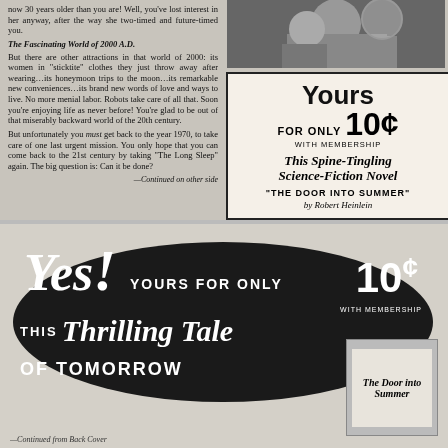now 30 years older than you are! Well, you've lost interest in her anyway, after the way she two-timed and future-timed you.
The Fascinating World of 2000 A.D.
But there are other attractions in that world of 2000: its women in "sticktite" clothes they just throw away after wearing...its honeymoon trips to the moon...its remarkable new conveniences...its brand new words of love and ways to live. No more menial labor. Robots take care of all that. Soon you're enjoying life as never before! You're glad to be out of that miserably backward world of the 20th century.
But unfortunately you must get back to the year 1970, to take care of one last urgent mission. You only hope that you can come back to the 21st century by taking "The Long Sleep" again. The big question is: Can it be done?
—Continued on other side
[Figure (photo): Black and white photo of two men at a table in conversation]
[Figure (infographic): Advertisement box: Yours FOR ONLY 10 cents WITH MEMBERSHIP - This Spine-Tingling Science-Fiction Novel - THE DOOR INTO SUMMER by Robert Heinlein]
[Figure (infographic): Large advertisement: Yes! Yours for only 10 cents with membership - This Thrilling Tale of Tomorrow - book cover image of The Door into Summer]
—Continued from Back Cover